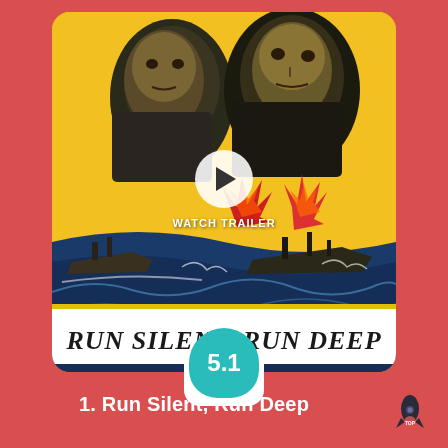[Figure (illustration): Movie poster for 'Run Silent, Run Deep' on a yellow background card. Shows two men's faces at top in black and white illustration style, naval warships with explosions in lower half. A play button overlay and 'WATCH TRAILER' text appear in the center. A teal score bubble shows '5.1' and a white IMDB box shows '7.3/10 IMDB'. The card sits on a red/coral background.]
1. Run Silent, Run Deep